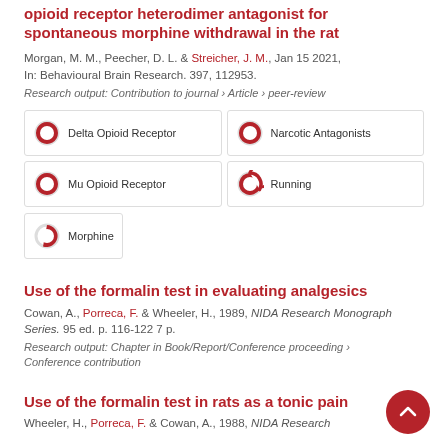opioid receptor heterodimer antagonist for spontaneous morphine withdrawal in the rat
Morgan, M. M., Peecher, D. L. & Streicher, J. M., Jan 15 2021, In: Behavioural Brain Research. 397, 112953.
Research output: Contribution to journal › Article › peer-review
Delta Opioid Receptor
Narcotic Antagonists
Mu Opioid Receptor
Running
Morphine
Use of the formalin test in evaluating analgesics
Cowan, A., Porreca, F. & Wheeler, H., 1989, NIDA Research Monograph Series. 95 ed. p. 116-122 7 p.
Research output: Chapter in Book/Report/Conference proceeding › Conference contribution
Use of the formalin test in rats as a tonic pain
Wheeler, H., Porreca, F. & Cowan, A., 1988, NIDA Research